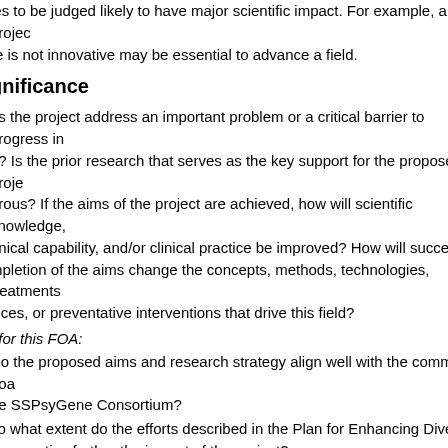ies to be judged likely to have major scientific impact. For example, a project re is not innovative may be essential to advance a field.
gnificance
es the project address an important problem or a critical barrier to progress in d? Is the prior research that serves as the key support for the proposed proje orous? If the aims of the project are achieved, how will scientific knowledge, nnical capability, and/or clinical practice be improved? How will successful mpletion of the aims change the concepts, methods, technologies, treatments vices, or preventative interventions that drive this field?
t for this FOA:
Do the proposed aims and research strategy align well with the common goa he SSPsyGene Consortium?
To what extent do the efforts described in the Plan for Enhancing Diverse Perspective further the impact of the project?
vestigator(s)
the PD(s)/PI(s), collaborators, and other researchers well suited to the proje ly Stage Investigators or those in the early stages of independent careers, d re appropriate experience and training? If established, have they demonstrat oing record of accomplishments that have advanced their field(s)? If the pro laborative or multi-PD/PI, do the investigators have complementary and integ